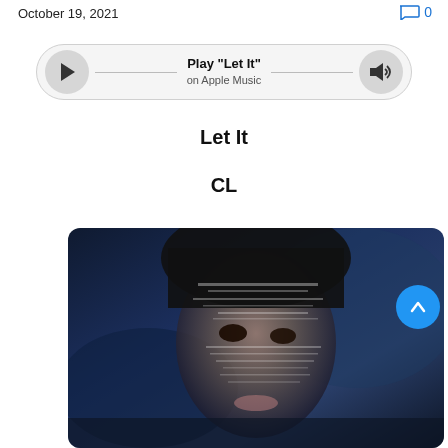October 19, 2021
💬 0
[Figure (other): Apple Music player bar with play button, 'Play "Let It"' title, 'on Apple Music' subtitle, and volume button]
Let It
CL
[Figure (photo): Album art showing a woman's face partially obscured by a digital glitch/data moshing effect, dark blue atmospheric background]